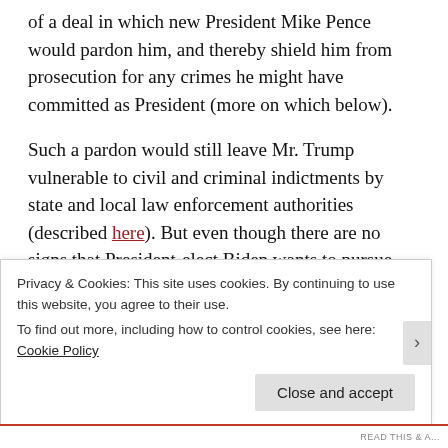of a deal in which new President Mike Pence would pardon him, and thereby shield him from prosecution for any crimes he might have committed as President (more on which below).
Such a pardon would still leave Mr. Trump vulnerable to civil and criminal indictments by state and local law enforcement authorities (described here). But even though there are no signs that President-elect Biden wants to pursue the possible Presidential offenses, foreclosing this option entirely would clearly leave Mr. Trump much better off than leaving it open.
Privacy & Cookies: This site uses cookies. By continuing to use this website, you agree to their use.
To find out more, including how to control cookies, see here: Cookie Policy